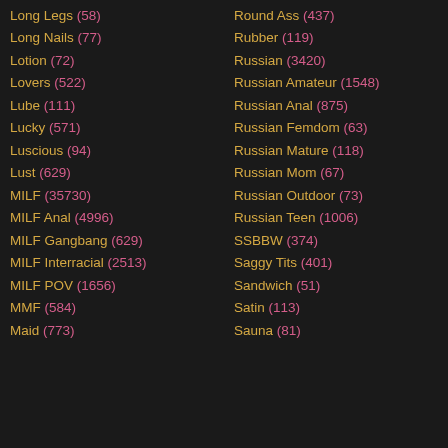Long Legs (58)
Long Nails (77)
Lotion (72)
Lovers (522)
Lube (111)
Lucky (571)
Luscious (94)
Lust (629)
MILF (35730)
MILF Anal (4996)
MILF Gangbang (629)
MILF Interracial (2513)
MILF POV (1656)
MMF (584)
Maid (773)
Round Ass (437)
Rubber (119)
Russian (3420)
Russian Amateur (1548)
Russian Anal (875)
Russian Femdom (63)
Russian Mature (118)
Russian Mom (67)
Russian Outdoor (73)
Russian Teen (1006)
SSBBW (374)
Saggy Tits (401)
Sandwich (51)
Satin (113)
Sauna (81)